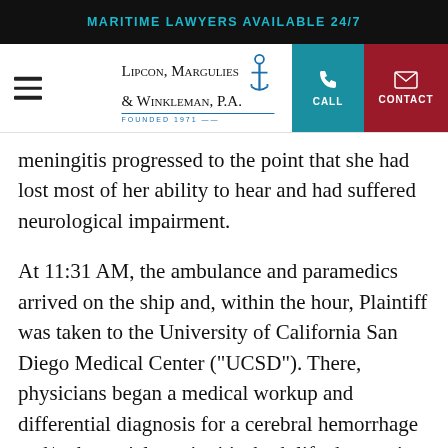MARITIME LAWYERS AVAILABLE 24/7
[Figure (logo): Lipcon, Margulies & Winkleman, P.A. Founded 1971 logo with anchor, plus CALL and CONTACT buttons]
meningitis progressed to the point that she had lost most of her ability to hear and had suffered neurological impairment.
At 11:31 AM, the ambulance and paramedics arrived on the ship and, within the hour, Plaintiff was taken to the University of California San Diego Medical Center (“UCSD”). There, physicians began a medical workup and differential diagnosis for a cerebral hemorrhage and/or bacterial meningitis, both life threatening conditions. After a CAT scan and a lumbar puncture, both unable to be performed in the